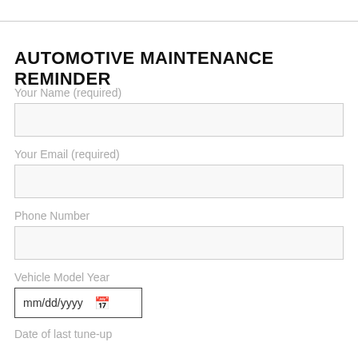AUTOMOTIVE MAINTENANCE REMINDER
Your Name (required)
Your Email (required)
Phone Number
Vehicle Model Year
mm/dd/yyyy
Date of last tune-up